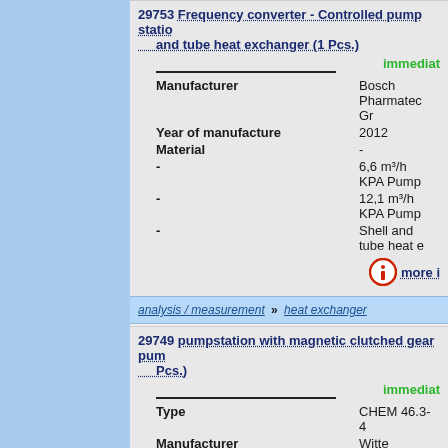29753 Frequency converter - Controlled pump station and tube heat exchanger (1 Pcs.)
immediately
| Field | Value |
| --- | --- |
| Manufacturer | Bosch Pharmatec Gr |
| Year of manufacture | 2012 |
| Material | - |
| - | 6,6 m³/h KPA Pump |
| - | 12,1 m³/h KPA Pump |
| - | Shell and tube heat e |
more i
analysis / measurement » heat exchanger
29749 pumpstation with magnetic clutched gear pump Pcs.)
immediately
| Field | Value |
| --- | --- |
| Type | CHEM 46.3-4 |
| Manufacturer | Witte Pumps & techr |
| Year of manufacture | 2012 |
| Power | 33.4 l/min |
| Pressure | 3 bar |
| Rotations | 722 |
| Material | Edelstahl 1.4571 - pu |
more i
fluid transportation » miscellaneous